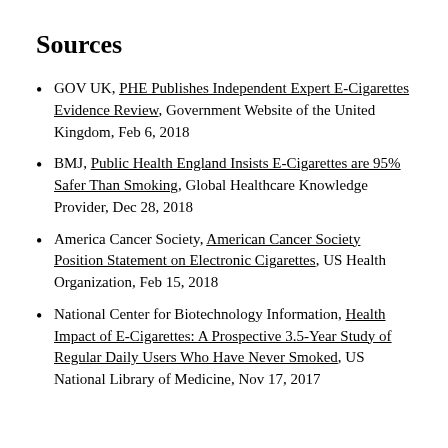Sources
GOV UK, PHE Publishes Independent Expert E-Cigarettes Evidence Review, Government Website of the United Kingdom, Feb 6, 2018
BMJ, Public Health England Insists E-Cigarettes are 95% Safer Than Smoking, Global Healthcare Knowledge Provider, Dec 28, 2018
America Cancer Society, American Cancer Society Position Statement on Electronic Cigarettes, US Health Organization, Feb 15, 2018
National Center for Biotechnology Information, Health Impact of E-Cigarettes: A Prospective 3.5-Year Study of Regular Daily Users Who Have Never Smoked, US National Library of Medicine, Nov 17, 2017